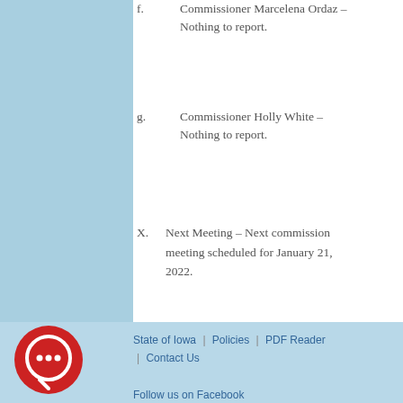f. Commissioner Marcelena Ordaz – Nothing to report.
g. Commissioner Holly White – Nothing to report.
X. Next Meeting – Next commission meeting scheduled for January 21, 2022.
XI. Call to adjourn. Meeting adjourned by Commissioner Ordaz.
State of Iowa | Policies | PDF Reader | Contact Us
Follow us on Facebook